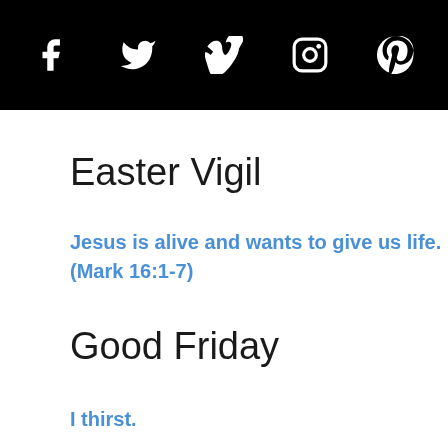f [Twitter] v [Instagram] [Pinterest] — social media icons
Easter Vigil
Jesus is alive and wants to give us life. (Mark 16:1-7)
Good Friday
I thirst.